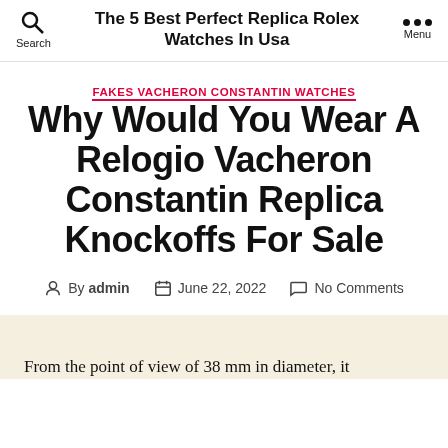The 5 Best Perfect Replica Rolex Watches In Usa
FAKES VACHERON CONSTANTIN WATCHES
Why Would You Wear A Relogio Vacheron Constantin Replica Knockoffs For Sale
By admin  June 22, 2022  No Comments
From the point of view of 38 mm in diameter, it